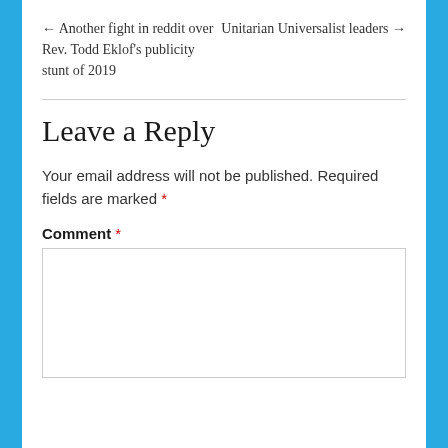← Another fight in reddit over Rev. Todd Eklof's publicity stunt of 2019
Unitarian Universalist leaders →
Leave a Reply
Your email address will not be published. Required fields are marked *
Comment *